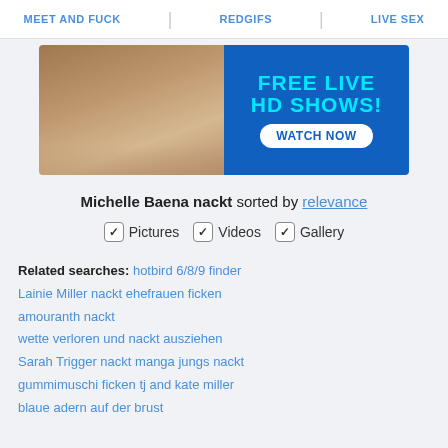MEET AND FUCK | REDGIFS | LIVE SEX
[Figure (photo): Advertisement banner for live HD shows featuring a woman in pink lingerie on the left side and blue background with cyan text 'FREE LIVE HD SHOWS!' and white button 'WATCH NOW' on the right side.]
Michelle Baena nackt sorted by relevance
✓ Pictures  ✓ Videos  ✓ Gallery
Related searches: hotbird 6/8/9 finder  Lainie Miller nackt  ehefrauen ficken  amouranth nackt  wette verloren und nackt ausziehen  Sarah Trigger nackt  manga jungs nackt  gummimuschi ficken  tj and kate miller  blaue adern auf der brust